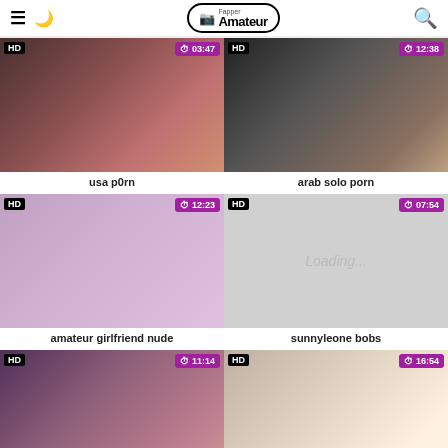FapperAmateur — navigation header with hamburger menu, moon icon, logo, and search icon
[Figure (photo): Video thumbnail 1 — usa p0rn, HD, 03:47]
[Figure (photo): Video thumbnail 2 — arab solo porn, HD, 12:38]
usa p0rn
arab solo porn
[Figure (photo): Video thumbnail 3 — amateur girlfriend nude, HD, 12:23]
[Figure (photo): Video thumbnail 4 — sunnyleone bobs, HD, 07:54, Loading...]
amateur girlfriend nude
sunnyleone bobs
[Figure (photo): Video thumbnail 5 — HD, 11:14]
[Figure (photo): Video thumbnail 6 — HD, 16:54]